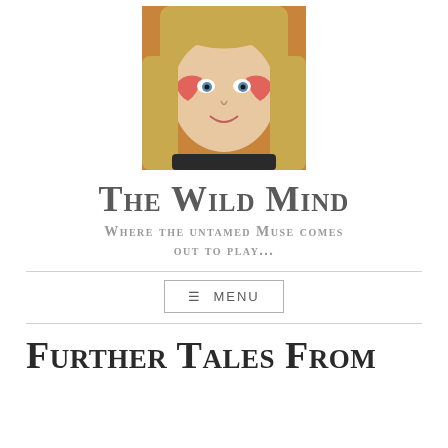[Figure (photo): Profile photo of a woman with blonde hair wearing face paint with red/pink design, smiling at camera]
The Wild Mind
Where the untamed Muse comes out to play...
≡ MENU
Further Tales From